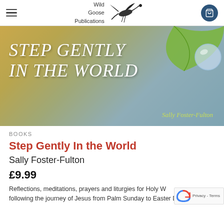Wild Goose Publications
[Figure (photo): Book cover for 'Step Gently In the World' by Sally Foster-Fulton. Shows text 'STEP GENTLY IN THE WORLD' in italic white lettering on a background blending gold/brown to grey-blue tones, with a green leaf and large water droplet in the upper right corner. Author name 'Sally Foster-Fulton' in yellow-green italic text at the bottom right.]
BOOKS
Step Gently In the World
Sally Foster-Fulton
£9.99
Reflections, meditations, prayers and liturgies for Holy W following the journey of Jesus from Palm Sunday to Easter Day